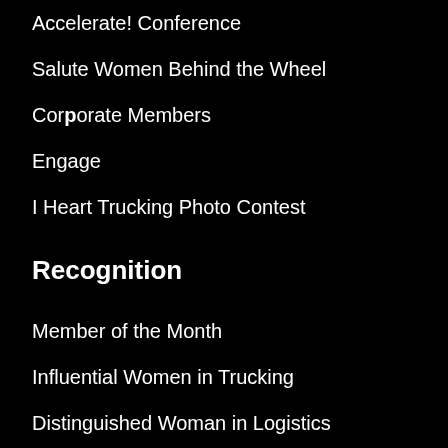Accelerate! Conference
Salute Women Behind the Wheel
Corporate Members
Engage
I Heart Trucking Photo Contest
Recognition
Member of the Month
Influential Women in Trucking
Distinguished Woman in Logistics
Driver of the Year
Top Women to Watch